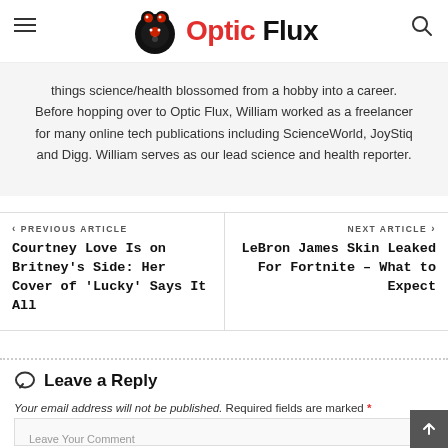Optic Flux
things science/health blossomed from a hobby into a career. Before hopping over to Optic Flux, William worked as a freelancer for many online tech publications including ScienceWorld, JoyStiq and Digg. William serves as our lead science and health reporter.
‹ PREVIOUS ARTICLE
Courtney Love Is on Britney's Side: Her Cover of 'Lucky' Says It All
NEXT ARTICLE ›
LeBron James Skin Leaked For Fortnite – What to Expect
Leave a Reply
Your email address will not be published. Required fields are marked *
Leave Your Comment